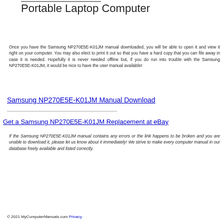Portable Laptop Computer
Once you have the Samsung NP270E5E-K01JM manual downloaded, you will be able to open it and view it right on your computer. You may also elect to print it out so that you have a hard copy that you can file away in case it is needed. Hopefully it is never needed offline but, if you do run into trouble with the Samsung NP270E5E-K01JM, it would be nice to have the user manual available!
Samsung NP270E5E-K01JM Manual Download
Get a Samsung NP270E5E-K01JM Replacement at eBay
If the Samsung NP270E5E-K01JM manual contains any errors or the link happens to be broken and you are unable to download it, please let us know about it immediately! We strive to make every computer manual in our database freely available and listed correctly.
© 2021 MyComputerManuals.com Privacy